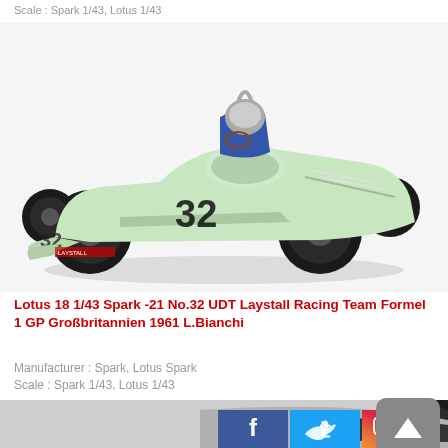Scale : Spark 1/43, Lotus 1/43
[Figure (photo): Scale model of a light green Lotus 18 Formula 1 racing car No. 32 with a driver figure, photographed on white background]
Lotus 18 1/43 Spark -21 No.32 UDT Laystall Racing Team Formel 1 GP Großbritannien 1961 L.Bianchi
Manufacturer : Spark, Lotus Spark
Scale : Spark 1/43, Lotus 1/43
[Figure (photo): Partial view of another scale model car, cropped at the bottom of the page]
[Figure (other): Social media buttons: Facebook, Twitter, Instagram]